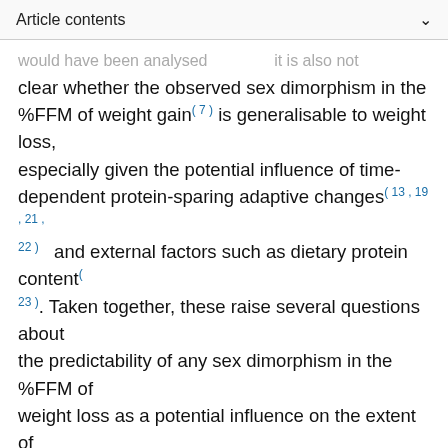Article contents
...would have been analysed ... it is also not clear whether the observed sex dimorphism in the %FFM of weight gain(7) is generalisable to weight loss, especially given the potential influence of time-dependent protein-sparing adaptive changes(13,19,21,22) and external factors such as dietary protein content(23). Taken together, these raise several questions about the predictability of any sex dimorphism in the %FFM of weight loss as a potential influence on the extent of weight loss.
Diet Trials, a multi-centred, large-scale, UK randomised controlled study, was designed to examine the efficacy of four popular commercially available weight loss programmes(24). It involved measurements of initial body composition by dual-energy X-ray absorptiometry (DEXA) and of anthropometry in 300 overweight and